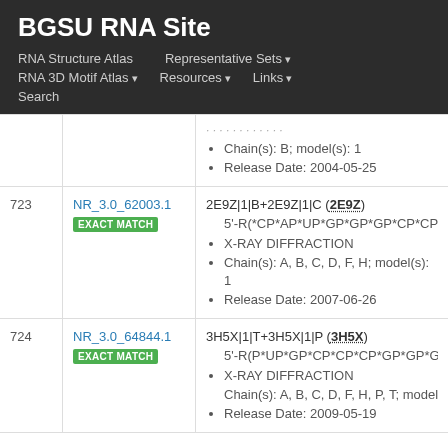BGSU RNA Site
RNA Structure Atlas | Representative Sets ▾ | RNA 3D Motif Atlas ▾ | Resources ▾ | Links ▾ | Search
| # | ID | Details |
| --- | --- | --- |
|  |  | Chain(s): B; model(s): 1
Release Date: 2004-05-25 |
| 723 | NR_3.0_62003.1
EXACT MATCH | 2E9Z|1|B+2E9Z|1|C (2E9Z)
5'-R(*CP*AP*UP*GP*GP*GP*CP*CP*C)...
X-RAY DIFFRACTION
Chain(s): A, B, C, D, F, H; model(s): 1
Release Date: 2007-06-26 |
| 724 | NR_3.0_64844.1
EXACT MATCH | 3H5X|1|T+3H5X|1|P (3H5X)
5'-R(P*UP*GP*CP*CP*CP*GP*GP*GP*C)...
X-RAY DIFFRACTION
Chain(s): A, B, C, D, F, H, P, T; model(s):...
Release Date: 2009-05-19 |